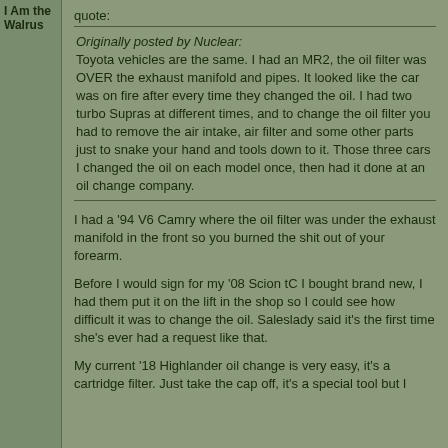I Am the Walrus
quote:
Originally posted by Nuclear:
Toyota vehicles are the same. I had an MR2, the oil filter was OVER the exhaust manifold and pipes. It looked like the car was on fire after every time they changed the oil. I had two turbo Supras at different times, and to change the oil filter you had to remove the air intake, air filter and some other parts just to snake your hand and tools down to it. Those three cars I changed the oil on each model once, then had it done at an oil change company.
I had a '94 V6 Camry where the oil filter was under the exhaust manifold in the front so you burned the shit out of your forearm.
Before I would sign for my '08 Scion tC I bought brand new, I had them put it on the lift in the shop so I could see how difficult it was to change the oil. Saleslady said it's the first time she's ever had a request like that.
My current '18 Highlander oil change is very easy, it's a cartridge filter. Just take the cap off, it's a special tool but I